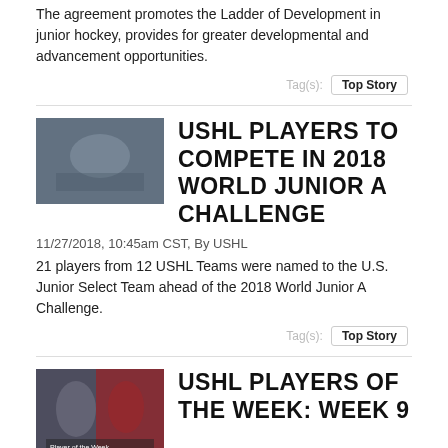The agreement promotes the Ladder of Development in junior hockey, provides for greater developmental and advancement opportunities.
Tag(s):  Top Story
USHL PLAYERS TO COMPETE IN 2018 WORLD JUNIOR A CHALLENGE
11/27/2018, 10:45am CST, By USHL
21 players from 12 USHL Teams were named to the U.S. Junior Select Team ahead of the 2018 World Junior A Challenge.
Tag(s):  Top Story
[Figure (photo): Team photo for USHL World Junior A Challenge article]
USHL PLAYERS OF THE WEEK: WEEK 9
11/26/2018, 2:30pm CST, By USHL
[Figure (photo): Photo for USHL Players of the Week: Week 9 article]